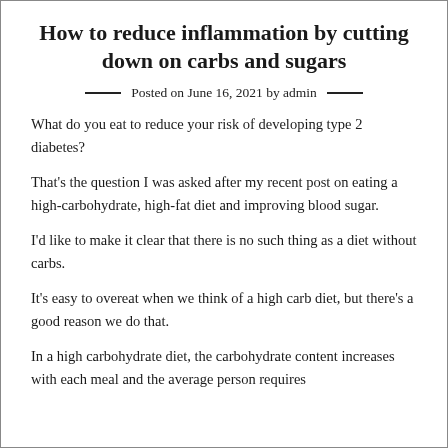How to reduce inflammation by cutting down on carbs and sugars
Posted on June 16, 2021 by admin
What do you eat to reduce your risk of developing type 2 diabetes?
That's the question I was asked after my recent post on eating a high-carbohydrate, high-fat diet and improving blood sugar.
I'd like to make it clear that there is no such thing as a diet without carbs.
It's easy to overeat when we think of a high carb diet, but there's a good reason we do that.
In a high carbohydrate diet, the carbohydrate content increases with each meal and the average person requires